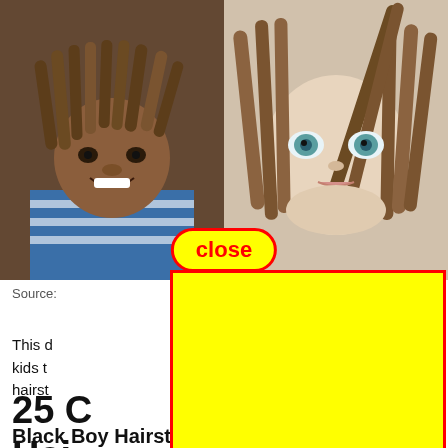[Figure (photo): Two children with dreadlocks. Left: a smiling Black boy wearing a blue striped shirt. Right: a light-skinned child with green eyes and dreadlocks.]
[Figure (screenshot): Yellow rectangle with red border overlay (advertisement), partially covering the page content. A yellow 'close' button with red text and red rounded border appears above it.]
Source:
This d... mong kids t... ds hairst...
25 C... Hai... n Littl... Black Boy Hairstyles Boys